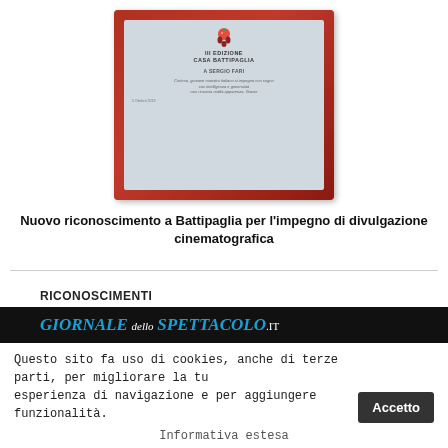[Figure (photo): Photo of an award plaque in a red case. The plaque reads: III EDIZIONE CASA BATTIPAGLIA, A SERGIO FARI, with text below and a date of 5 Ottobre 2019. A tomato mascot logo appears on the plaque.]
Nuovo riconoscimento a Battipaglia per l'impegno di divulgazione cinematografica
RICONOSCIMENTI
[Figure (logo): Logo of GIORNALE dello SPETTACOLO.IT in italic bold text on a black bar. GIORNALE and SPETTACOLO are in cyan/blue, dello and .IT are in white.]
Questo sito fa uso di cookies, anche di terze parti, per migliorare la tu esperienza di navigazione e per aggiungere funzionalità.
Informativa estesa